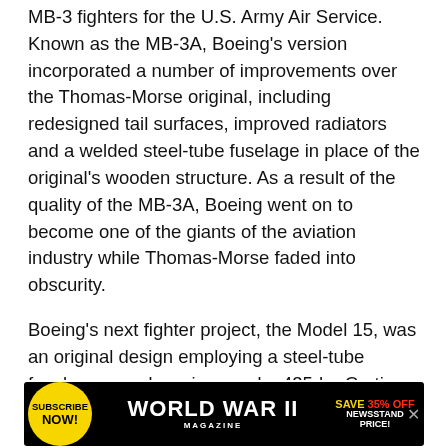MB-3 fighters for the U.S. Army Air Service. Known as the MB-3A, Boeing's version incorporated a number of improvements over the Thomas-Morse original, including redesigned tail surfaces, improved radiators and a welded steel-tube fuselage in place of the original's wooden structure. As a result of the quality of the MB-3A, Boeing went on to become one of the giants of the aviation industry while Thomas-Morse faded into obscurity.
Boeing's next fighter project, the Model 15, was an original design employing a steel-tube fuselage, wooden wings and a 435-hp Curtiss D-12 liquid-cooled engine. Submitted in direct competition with a design from the much larger Curtiss Company, Boeing took a historic win on the new fighter by
[Figure (other): World War II Magazine advertisement banner with yellow subscribe circle, red 'WORLD WAR II' magazine text on black background, and save 35% off newsstand price offer]